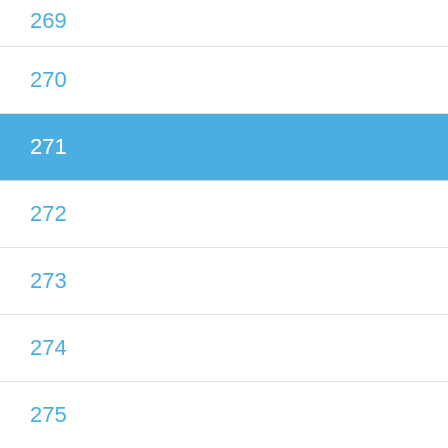269
270
271
272
273
274
275
276
Other Languages